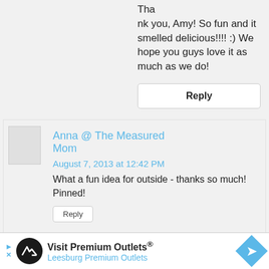Thank you, Amy! So fun and it smelled delicious!!!! :) We hope you guys love it as much as we do!
Reply
Anna @ The Measured Mom
August 7, 2013 at 12:42 PM
What a fun idea for outside - thanks so much! Pinned!
Reply
Replies
[Figure (other): Advertisement banner for Visit Premium Outlets - Leesburg Premium Outlets with logo and navigation arrow icon]